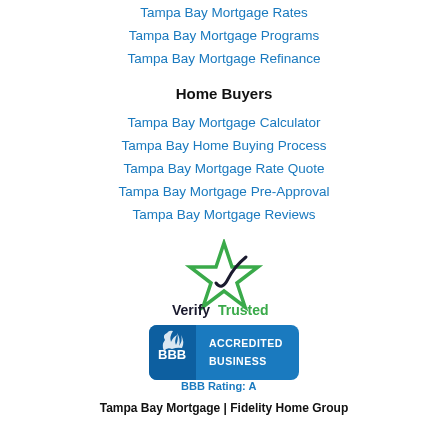Tampa Bay Mortgage Rates
Tampa Bay Mortgage Programs
Tampa Bay Mortgage Refinance
Home Buyers
Tampa Bay Mortgage Calculator
Tampa Bay Home Buying Process
Tampa Bay Mortgage Rate Quote
Tampa Bay Mortgage Pre-Approval
Tampa Bay Mortgage Reviews
[Figure (logo): VerifyTrusted logo with a green star outline and a dark blue/black checkmark swoosh through it, with text 'Verify' in dark bold and 'Trusted' in green bold]
[Figure (logo): BBB Accredited Business badge: teal/blue rounded rectangle with BBB flame logo on left and 'ACCREDITED BUSINESS' text on right, with 'BBB Rating: A' in teal text below]
Tampa Bay Mortgage | Fidelity Home Group